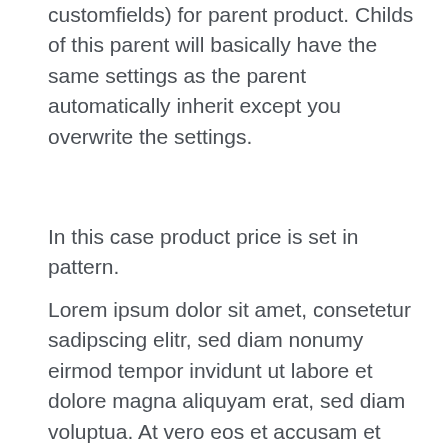customfields) for parent product. Childs of this parent will basically have the same settings as the parent automatically inherit except you overwrite the settings.
In this case product price is set in pattern.
Lorem ipsum dolor sit amet, consetetur sadipscing elitr, sed diam nonumy eirmod tempor invidunt ut labore et dolore magna aliquyam erat, sed diam voluptua. At vero eos et accusam et justo duo dolores et ea rebum. Stet clita kasd gubergren, no sea takimata sanctus est Lorem ipsum dolor sit amet. Lorem ipsum dolor sit amet, consetetur sadipscing elitr, sed diam nonumy eirmod tempor invidunt ut labore et dolore magna aliquyam erat, sed diam voluptua.